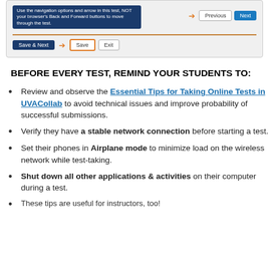[Figure (screenshot): Screenshot of an online test interface showing navigation buttons (Previous, Next) with an orange arrow, a horizontal divider line, and a Save row with Save/Submit/Exit buttons with orange arrow indicators.]
BEFORE EVERY TEST, REMIND YOUR STUDENTS TO:
Review and observe the Essential Tips for Taking Online Tests in UVACollab to avoid technical issues and improve probability of successful submissions.
Verify they have a stable network connection before starting a test.
Set their phones in Airplane mode to minimize load on the wireless network while test-taking.
Shut down all other applications & activities on their computer during a test.
These tips are useful for instructors, too!